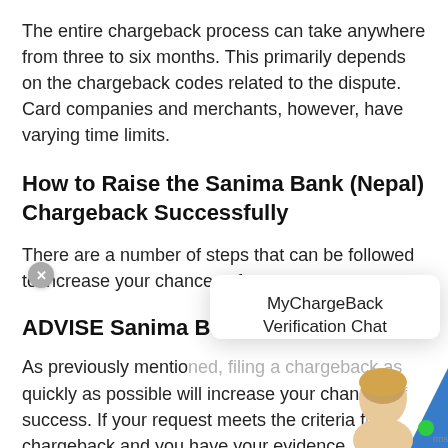The entire chargeback process can take anywhere from three to six months. This primarily depends on the chargeback codes related to the dispute. Card companies and merchants, however, have varying time limits.
How to Raise the Sanima Bank (Nepal) Chargeback Successfully
There are a number of steps that can be followed to increase your chances of success.
ADVISE Sanima Ba
[Figure (other): MyChargeBack Verification Chat popup overlay with close button (x), chat title text 'MyChargeBack Verification Chat', and a customer service avatar (woman with blonde hair) with a green online indicator dot and 'rms' text at bottom right, plus a blue brand triangle element.]
As previously mentioned, filing a chargeback as quickly as possible will increase your chances of success. If your request meets the criteria for a chargeback and you have your evidence